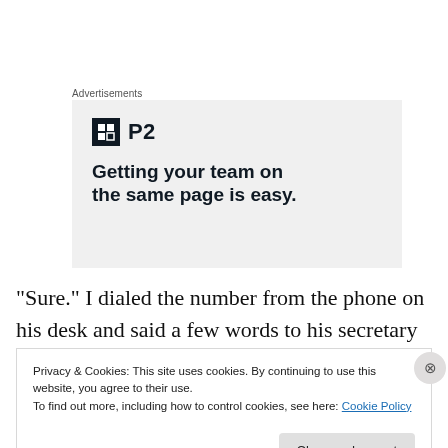Advertisements
[Figure (infographic): Advertisement banner for P2 product. Shows the P2 logo (dark square icon with letter H and text 'P2') and tagline 'Getting your team on the same page is easy.' on a light grey background.]
“Sure.” I dialed the number from the phone on his desk and said a few words to his secretary in broken Farsi. As
Privacy & Cookies: This site uses cookies. By continuing to use this website, you agree to their use.
To find out more, including how to control cookies, see here: Cookie Policy
Close and accept